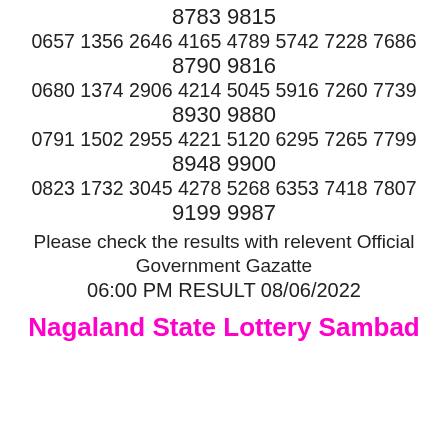8783 9815
0657 1356 2646 4165 4789 5742 7228 7686
8790 9816
0680 1374 2906 4214 5045 5916 7260 7739
8930 9880
0791 1502 2955 4221 5120 6295 7265 7799
8948 9900
0823 1732 3045 4278 5268 6353 7418 7807
9199 9987
Please check the results with relevent Official Government Gazatte
06:00 PM RESULT 08/06/2022
Nagaland State Lottery Sambad